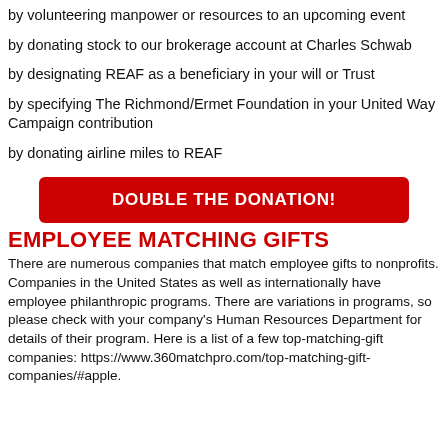by volunteering manpower or resources to an upcoming event
by donating stock to our brokerage account at Charles Schwab
by designating REAF as a beneficiary in your will or Trust
by specifying The Richmond/Ermet Foundation in your United Way Campaign contribution
by donating airline miles to REAF
[Figure (other): Red button with white text reading DOUBLE THE DONATION!]
EMPLOYEE MATCHING GIFTS
There are numerous companies that match employee gifts to nonprofits. Companies in the United States as well as internationally have employee philanthropic programs. There are variations in programs, so please check with your company's Human Resources Department for details of their program. Here is a list of a few top-matching-gift companies: https://www.360matchpro.com/top-matching-gift-companies/#apple.